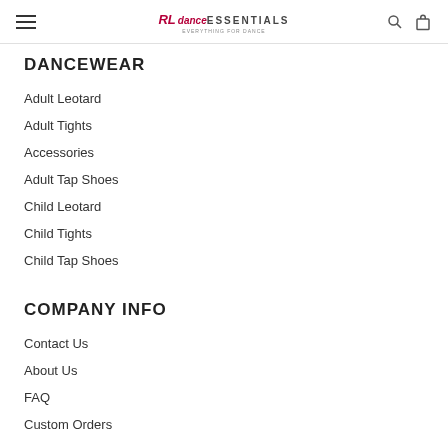dance ESSENTIALS — navigation header with hamburger menu, logo, search and bag icons
DANCEWEAR
Adult Leotard
Adult Tights
Accessories
Adult Tap Shoes
Child Leotard
Child Tights
Child Tap Shoes
COMPANY INFO
Contact Us
About Us
FAQ
Custom Orders